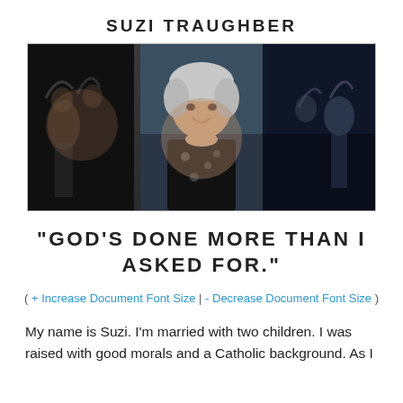SUZI TRAUGHBER
[Figure (photo): Three-panel photo collage: left panel shows people with raised hands in a dark indoor setting, center panel shows a smiling older woman with grey hair wearing a black and white floral shirt, right panel shows people with raised hands in an outdoor/evening setting.]
"GOD'S DONE MORE THAN I ASKED FOR."
( + Increase Document Font Size | - Decrease Document Font Size )
My name is Suzi. I'm married with two children. I was raised with good morals and a Catholic background. As I